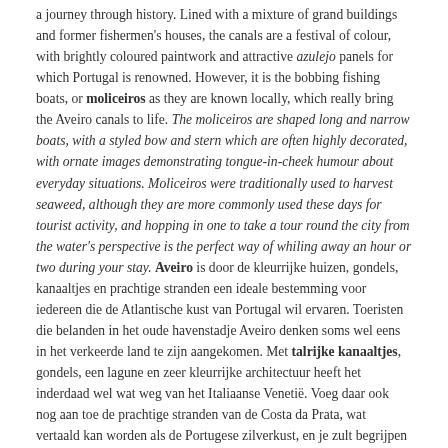a journey through history. Lined with a mixture of grand buildings and former fishermen's houses, the canals are a festival of colour, with brightly coloured paintwork and attractive azulejo panels for which Portugal is renowned. However, it is the bobbing fishing boats, or moliceiros as they are known locally, which really bring the Aveiro canals to life. The moliceiros are shaped long and narrow boats, with a styled bow and stern which are often highly decorated, with ornate images demonstrating tongue-in-cheek humour about everyday situations. Moliceiros were traditionally used to harvest seaweed, although they are more commonly used these days for tourist activity, and hopping in one to take a tour round the city from the water's perspective is the perfect way of whiling away an hour or two during your stay. Aveiro is door de kleurrijke huizen, gondels, kanaaltjes en prachtige stranden een ideale bestemming voor iedereen die de Atlantische kust van Portugal wil ervaren. Toeristen die belanden in het oude havenstadje Aveiro denken soms wel eens in het verkeerde land te zijn aangekomen. Met talrijke kanaaltjes, gondels, een lagune en zeer kleurrijke architectuur heeft het inderdaad wel wat weg van het Italiaanse Venetië. Voeg daar ook nog aan toe de prachtige stranden van de Costa da Prata, wat vertaald kan worden als de Portugese zilverkust, en je zult begrijpen waarom het kleine, rustgevende Aveiro erg populair is bij zowel Portugese als internationale bezoekers. Niet ver van grotere steden zoals Porto of Coimbra, leent het zich bij uitstek voor hen die enkele dagen aan